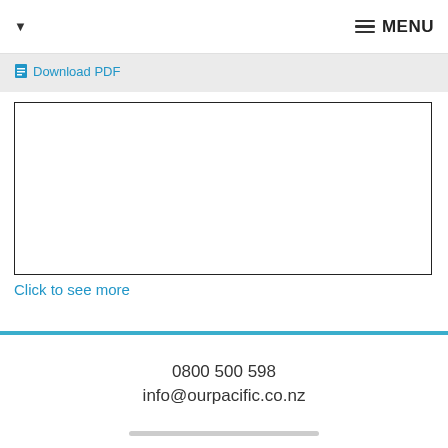▼  MENU
Download PDF
[Figure (other): Empty white document preview box with black border]
Click to see more
0800 500 598
info@ourpacific.co.nz